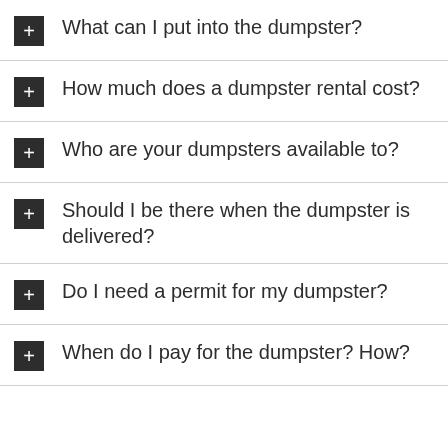What can I put into the dumpster?
How much does a dumpster rental cost?
Who are your dumpsters available to?
Should I be there when the dumpster is delivered?
Do I need a permit for my dumpster?
When do I pay for the dumpster? How?